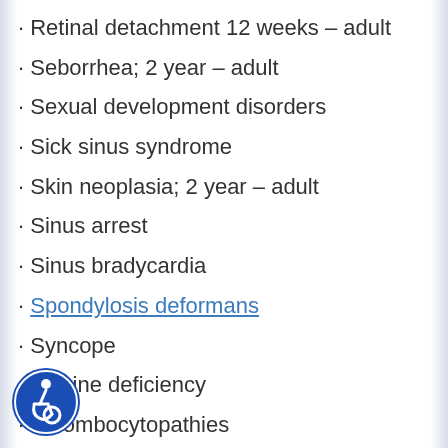· Retinal detachment 12 weeks – adult
· Seborrhea; 2 year – adult
· Sexual development disorders
· Sick sinus syndrome
· Skin neoplasia; 2 year – adult
· Sinus arrest
· Sinus bradycardia
· Spondylosis deformans
· Syncope
· Taurine deficiency
· Thrombocytopathies
· Thrombocytopenia
· Tonsil enlargement 7 months – adult